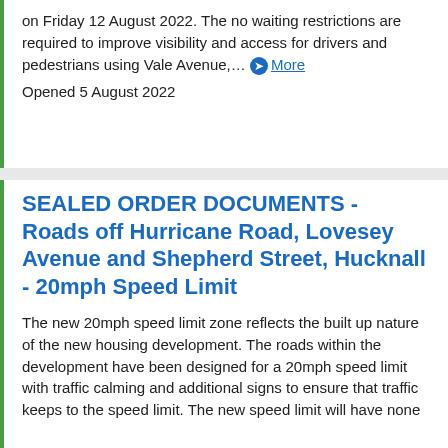on Friday 12 August 2022. The no waiting restrictions are required to improve visibility and access for drivers and pedestrians using Vale Avenue,… ➔ More
Opened 5 August 2022
SEALED ORDER DOCUMENTS - Roads off Hurricane Road, Lovesey Avenue and Shepherd Street, Hucknall - 20mph Speed Limit
The new 20mph speed limit zone reflects the built up nature of the new housing development. The roads within the development have been designed for a 20mph speed limit with traffic calming and additional signs to ensure that traffic keeps to the speed limit. The new speed limit will have none